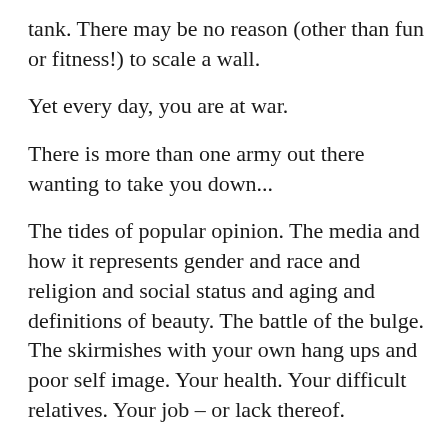tank. There may be no reason (other than fun or fitness!) to scale a wall.
Yet every day, you are at war.
There is more than one army out there wanting to take you down...
The tides of popular opinion. The media and how it represents gender and race and religion and social status and aging and definitions of beauty. The battle of the bulge. The skirmishes with your own hang ups and poor self image. Your health. Your difficult relatives. Your job – or lack thereof.
The war for your soul.